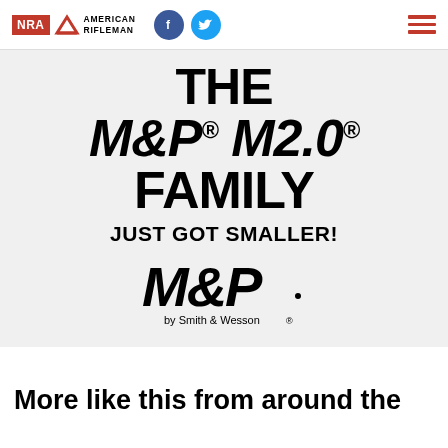NRA American Rifleman | Facebook | Twitter | Menu
THE M&P® M2.0® FAMILY JUST GOT SMALLER!
[Figure (logo): M&P by Smith & Wesson logo in italic bold black lettering]
More like this from around the